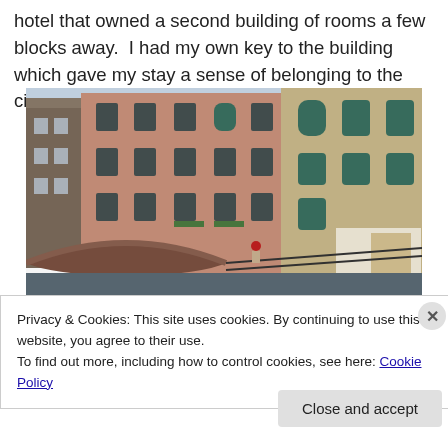hotel that owned a second building of rooms a few blocks away.  I had my own key to the building which gave my stay a sense of belonging to the city.
[Figure (photo): Street-level photograph of Venetian buildings with terracotta/pink facades, green shuttered windows, and a brick arched bridge over a canal in the foreground. A person in a red cap is visible on the bridge steps.]
Privacy & Cookies: This site uses cookies. By continuing to use this website, you agree to their use.
To find out more, including how to control cookies, see here: Cookie Policy